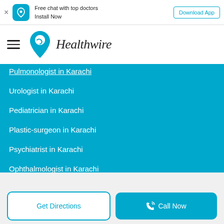[Figure (screenshot): App banner with Healthwire icon, text 'Free chat with top doctors / Install Now', and 'Download App' button]
[Figure (logo): Healthwire logo with teal heart/location pin icon and italic 'Healthwire' text, with hamburger menu]
Pulmonologist in Karachi
Urologist in Karachi
Pediatrician in Karachi
Plastic-surgeon in Karachi
Psychiatrist in Karachi
Ophthalmologist in Karachi
[Figure (infographic): Social media icons: Facebook, Instagram, Twitter, LinkedIn, YouTube]
© Copyrights 2022 , Healthwire. All Rights Reserved
Get Directions
Call Now